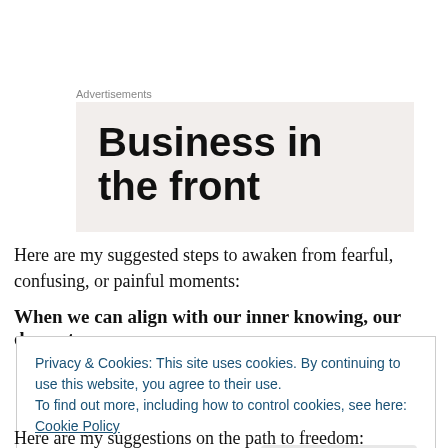Advertisements
[Figure (other): Advertisement banner with large bold text reading 'Business in the front' on a light beige/grey background]
Here are my suggested steps to awaken from fearful, confusing, or painful moments:
When we can align with our inner knowing, our deepest
Privacy & Cookies: This site uses cookies. By continuing to use this website, you agree to their use.
To find out more, including how to control cookies, see here: Cookie Policy
Close and accept
Here are my suggestions on the path to freedom: